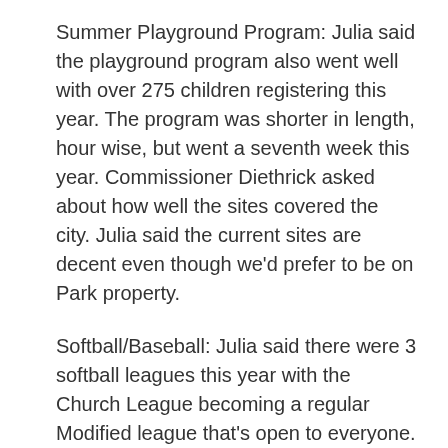Summer Playground Program: Julia said the playground program also went well with over 275 children registering this year. The program was shorter in length, hour wise, but went a seventh week this year. Commissioner Diethrick asked about how well the sites covered the city. Julia said the current sites are decent even though we'd prefer to be on Park property.
Softball/Baseball: Julia said there were 3 softball leagues this year with the Church League becoming a regular Modified league that's open to everyone. City Rec Baseball was huge with 7 teams this year. Unfortunately, we lost a long time coach, Wayne Smith, who died at a game. Fortunately, there was a parent who stepped up to take over the team.